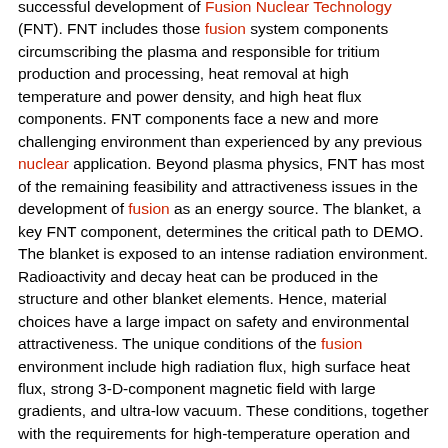successful development of Fusion Nuclear Technology (FNT). FNT includes those fusion system components circumscribing the plasma and responsible for tritium production and processing, heat removal at high temperature and power density, and high heat flux components. FNT components face a new and more challenging environment than experienced by any previous nuclear application. Beyond plasma physics, FNT has most of the remaining feasibility and attractiveness issues in the development of fusion as an energy source. The blanket, a key FNT component, determines the critical path to DEMO. The blanket is exposed to an intense radiation environment. Radioactivity and decay heat can be produced in the structure and other blanket elements. Hence, material choices have a large impact on safety and environmental attractiveness. The unique conditions of the fusion environment include high radiation flux, high surface heat flux, strong 3-D-component magnetic field with large gradients, and ultra-low vacuum. These conditions, together with the requirements for high-temperature operation and tritium self-sufficiency, make blanket design and development challenging tasks. The blanket concepts being considered worldwide can be classified into solid breeders and liquid